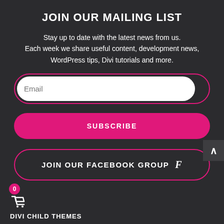JOIN OUR MAILING LIST
Stay up to date with the latest news from us. Each week we share useful content, development news, WordPress tips, Divi tutorials and more.
[Figure (screenshot): Email input field with white rounded pill shape and pink/magenta border]
[Figure (screenshot): SUBSCRIBE button with magenta/pink background and rounded pill shape]
[Figure (screenshot): JOIN OUR FACEBOOK GROUP button with dark background and pink/magenta border, Facebook f icon]
[Figure (screenshot): Shopping cart icon with pink badge showing 0]
DIVI CHILD THEMES